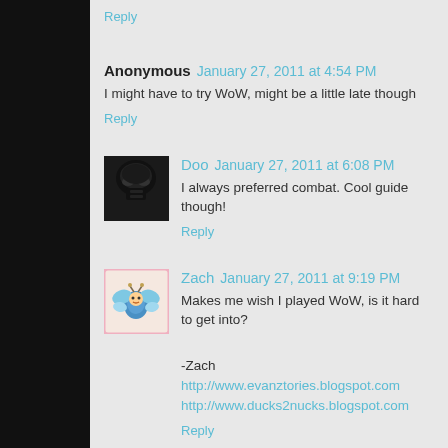Reply
Anonymous  January 27, 2011 at 4:54 PM
I might have to try WoW, might be a little late though
Reply
[Figure (photo): Darth Vader avatar icon]
Doo  January 27, 2011 at 6:08 PM
I always preferred combat. Cool guide though!
Reply
[Figure (illustration): Colorful butterfly/character avatar icon]
Zach  January 27, 2011 at 9:19 PM
Makes me wish I played WoW, is it hard to get into?
-Zach
http://www.evanztories.blogspot.com
http://www.ducks2nucks.blogspot.com
Reply